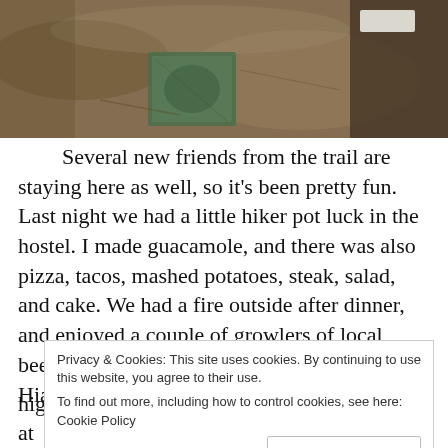[Figure (photo): Outdoor ground scene showing a green bronze placard or marker embedded in dusty soil/dirt, with a white rectangular object visible in the upper right background.]
Several new friends from the trail are staying here as well, so it's been pretty fun. Last night we had a little hiker pot luck in the hostel. I made guacamole, and there was also pizza, tacos, mashed potatoes, steak, salad, and cake. We had a fire outside after dinner, and enjoyed a couple of growlers of local beers from the beer store in downtown Hiawassee.
My first week on the trail has been great. I've met some awesome people, and hiked some really
Privacy & Cookies: This site uses cookies. By continuing to use this website, you agree to their use.
To find out more, including how to control cookies, see here: Cookie Policy
Close and accept
highlights from the week include: a hiker feed at